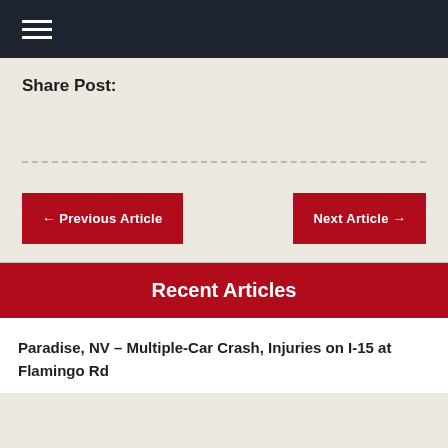☰
Share Post:
← Previous Article   Next Article →
Recent Articles
Paradise, NV – Multiple-Car Crash, Injuries on I-15 at Flamingo Rd